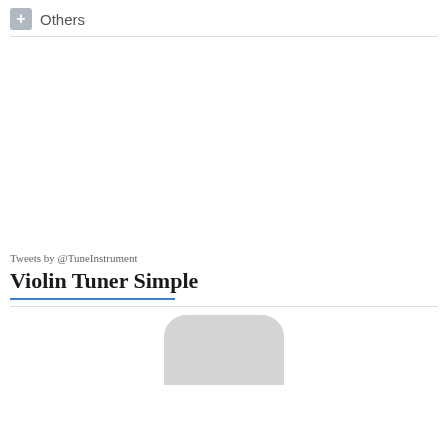+ Others
Tweets by @TuneInstrument
Violin Tuner Simple
[Figure (illustration): App icon showing a rounded rectangle with a circular peach/skin-toned element at the bottom, partially cut off]